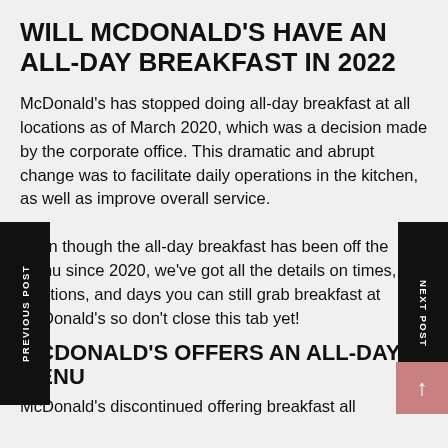WILL MCDONALD'S HAVE AN ALL-DAY BREAKFAST IN 2022
McDonald's has stopped doing all-day breakfast at all locations as of March 2020, which was a decision made by the corporate office. This dramatic and abrupt change was to facilitate daily operations in the kitchen, as well as improve overall service.

Even though the all-day breakfast has been off the menu since 2020, we've got all the details on times, locations, and days you can still grab breakfast at McDonald's so don't close this tab yet!
MCDONALD'S OFFERS AN ALL-DAY MENU
McDonald's discontinued offering breakfast all